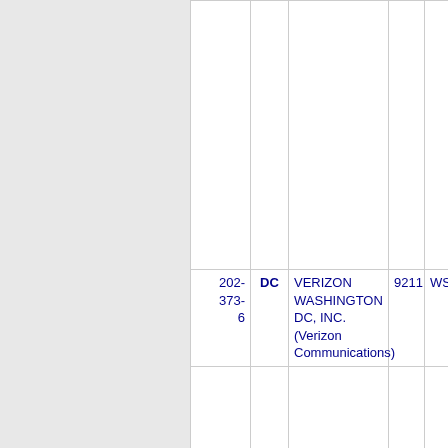| Phone | State | Company Name | ZIP | City |
| --- | --- | --- | --- | --- |
|  |  |  |  |  |
| 202-373-6 | DC | VERIZON WASHINGTON DC, INC. (Verizon Communications) | 9211 | WSHN... |